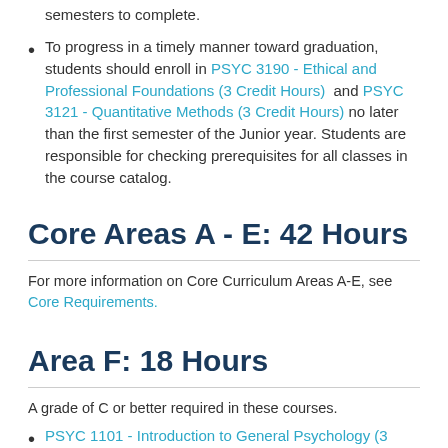semesters to complete.
To progress in a timely manner toward graduation, students should enroll in PSYC 3190 - Ethical and Professional Foundations (3 Credit Hours) and PSYC 3121 - Quantitative Methods (3 Credit Hours) no later than the first semester of the Junior year. Students are responsible for checking prerequisites for all classes in the course catalog.
Core Areas A - E: 42 Hours
For more information on Core Curriculum Areas A-E, see Core Requirements.
Area F: 18 Hours
A grade of C or better required in these courses.
PSYC 1101 - Introduction to General Psychology (3 Credit Hours)